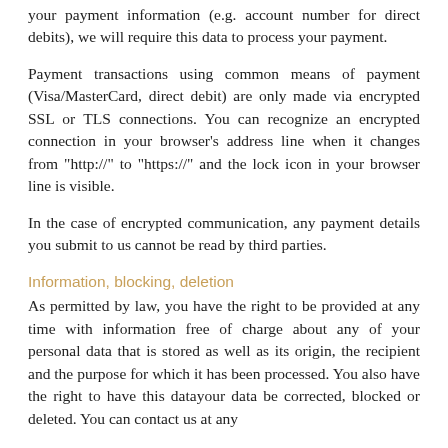your payment information (e.g. account number for direct debits), we will require this data to process your payment.
Payment transactions using common means of payment (Visa/MasterCard, direct debit) are only made via encrypted SSL or TLS connections. You can recognize an encrypted connection in your browser's address line when it changes from "http://" to "https://" and the lock icon in your browser line is visible.
In the case of encrypted communication, any payment details you submit to us cannot be read by third parties.
Information, blocking, deletion
As permitted by law, you have the right to be provided at any time with information free of charge about any of your personal data that is stored as well as its origin, the recipient and the purpose for which it has been processed. You also have the right to have this datayour data be corrected, blocked or deleted. You can contact us at any